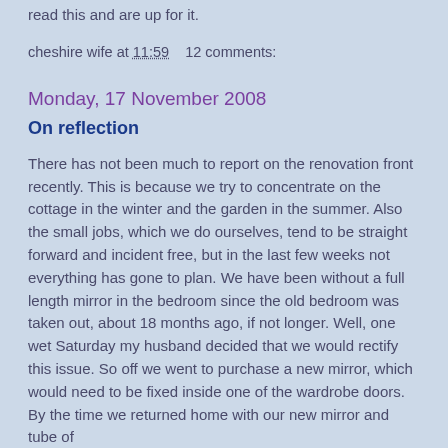read this and are up for it.
cheshire wife at 11:59    12 comments:
Monday, 17 November 2008
On reflection
There has not been much to report on the renovation front recently. This is because we try to concentrate on the cottage in the winter and the garden in the summer. Also the small jobs, which we do ourselves, tend to be straight forward and incident free, but in the last few weeks not everything has gone to plan. We have been without a full length mirror in the bedroom since the old bedroom was taken out, about 18 months ago, if not longer. Well, one wet Saturday my husband decided that we would rectify this issue. So off we went to purchase a new mirror, which would need to be fixed inside one of the wardrobe doors. By the time we returned home with our new mirror and tube of